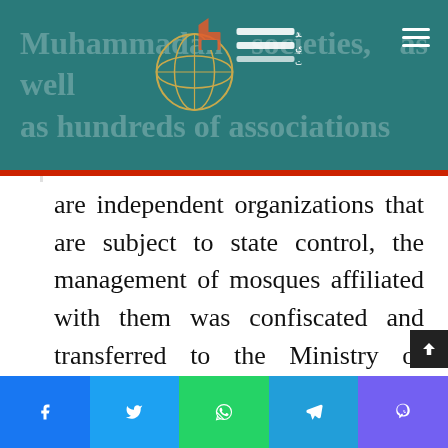Muhammadan societies, as well as hundreds of associations are independent organizations that are subject to state control, the management of mosques affiliated with them was confiscated and transferred to the Ministry of Wakfs, despite the latter's inability to manage its own affiliated mosques.
are independent organizations that are subject to state control, the management of mosques affiliated with them was confiscated and transferred to the Ministry of Wakfs, despite the latter's inability to manage its own affiliated mosques.
After that, came the idea of unifying the Friday prayers sermon,
f  t  WhatsApp  Telegram  Viber